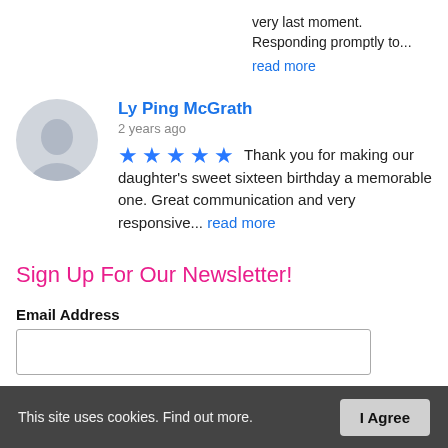very last moment. Responding promptly to...
read more
Ly Ping McGrath
2 years ago
★★★★★  Thank you for making our daughter's sweet sixteen birthday a memorable one. Great communication and very responsive... read more
Sign Up For Our Newsletter!
Email Address
First Name
This site uses cookies. Find out more.